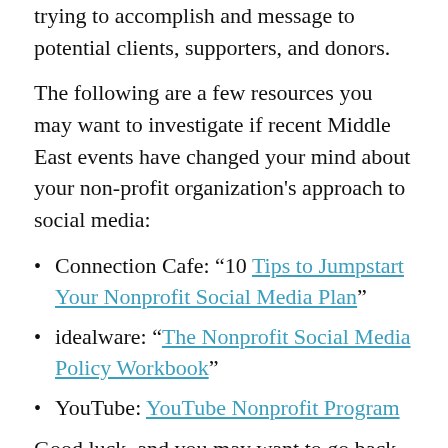trying to accomplish and message to potential clients, supporters, and donors.
The following are a few resources you may want to investigate if recent Middle East events have changed your mind about your non-profit organization’s approach to social media:
Connection Cafe: “10 Tips to Jumpstart Your Nonprofit Social Media Plan”
idealware: “The Nonprofit Social Media Policy Workbook”
YouTube: YouTube Nonprofit Program
Good luck, and you may want to go back an re-read my list of observations and keep in the back of your mind my fourth observation as you proceed.